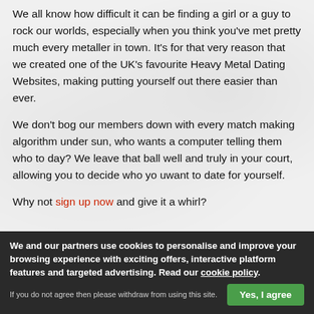We all know how difficult it can be finding a girl or a guy to rock our worlds, especially when you think you've met pretty much every metaller in town. It's for that very reason that we created one of the UK's favourite Heavy Metal Dating Websites, making putting yourself out there easier than ever.
We don't bog our members down with every match making algorithm under sun, who wants a computer telling them who to day? We leave that ball well and truly in your court, allowing you to decide who yo uwant to date for yourself.
Why not sign up now and give it a whirl?
We and our partners use cookies to personalise and improve your browsing experience with exciting offers, interactive platform features and targeted advertising. Read our cookie policy.
If you do not agree then please withdraw from using this site.